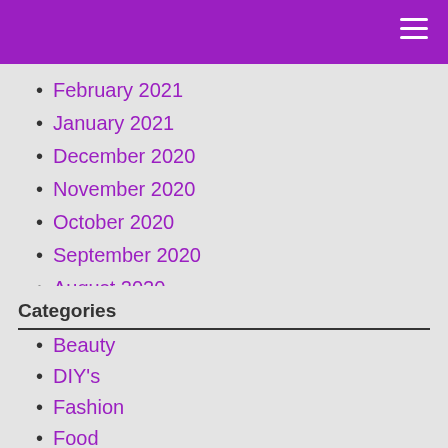February 2021
January 2021
December 2020
November 2020
October 2020
September 2020
August 2020
Categories
Beauty
DIY's
Fashion
Food
Health